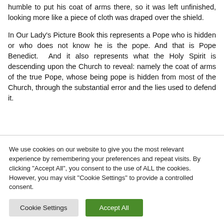humble to put his coat of arms there, so it was left unfinished, looking more like a piece of cloth was draped over the shield.
In Our Lady's Picture Book this represents a Pope who is hidden or who does not know he is the pope. And that is Pope Benedict.  And it also represents what the Holy Spirit is descending upon the Church to reveal: namely the coat of arms of the true Pope, whose being pope is hidden from most of the Church, through the substantial error and the lies used to defend it.
We use cookies on our website to give you the most relevant experience by remembering your preferences and repeat visits. By clicking "Accept All", you consent to the use of ALL the cookies. However, you may visit "Cookie Settings" to provide a controlled consent.